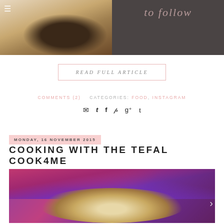[Figure (photo): Top left: food photo showing a chocolate cake or brownie with burlap ribbon on a white plate. Top right: dark gray background with italic cursive text 'to follow'.]
READ FULL ARTICLE
COMMENTS (2)   CATEGORIES: FOOD, INSTAGRAM
[Figure (infographic): Social media share icons: email, twitter, facebook, pinterest, google+, tumblr]
MONDAY, 16 NOVEMBER 2015
COOKING WITH THE TEFAL COOK4ME
[Figure (photo): Food photo showing a white bowl with a creamy dish, surrounded by colorful fabric/scarves in purple, magenta and blue tones. Navigation arrow on right.]